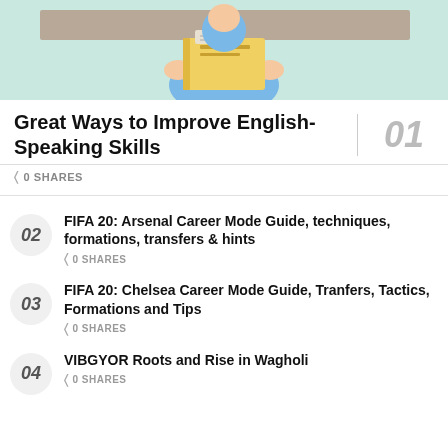[Figure (illustration): Illustration of a person holding a book, with a light teal background]
Great Ways to Improve English-Speaking Skills
0 SHARES
FIFA 20: Arsenal Career Mode Guide, techniques, formations, transfers & hints — 0 SHARES
FIFA 20: Chelsea Career Mode Guide, Tranfers, Tactics, Formations and Tips — 0 SHARES
VIBGYOR Roots and Rise in Wagholi — 0 SHARES